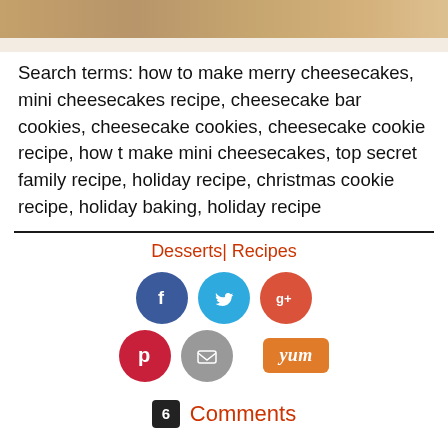[Figure (photo): Top portion of a cheesecake bar cookie on a white plate, partially cropped]
Search terms: how to make merry cheesecakes, mini cheesecakes recipe, cheesecake bar cookies, cheesecake cookies, cheesecake cookie recipe, how t make mini cheesecakes, top secret family recipe, holiday recipe, christmas cookie recipe, holiday baking, holiday recipe
Desserts | Recipes
[Figure (infographic): Social sharing buttons: Facebook (blue circle), Twitter (cyan circle), Google+ (red circle), Pinterest (dark red circle), Email (grey circle), Yum button (orange rectangle)]
6 Comments